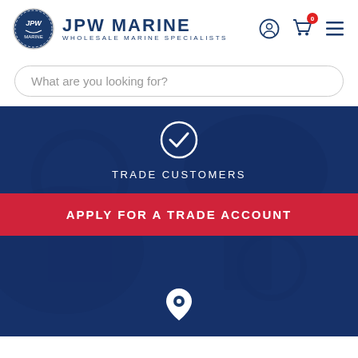[Figure (logo): JPW Marine logo with circular blue emblem and text 'JPW MARINE WHOLESALE MARINE SPECIALISTS']
What are you looking for?
[Figure (screenshot): Dark blue hero section with marine background image overlay showing 'TRADE CUSTOMERS' text, a checkmark icon, and a red 'APPLY FOR A TRADE ACCOUNT' button, with a location pin icon at the bottom]